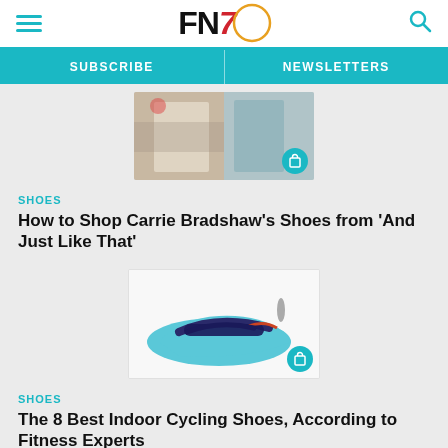FN7 — Footwear News header with hamburger menu, FN7 logo, and search icon
SUBSCRIBE | NEWSLETTERS
[Figure (photo): Fashion street style photo collage with shop badge icon]
SHOES
How to Shop Carrie Bradshaw's Shoes from 'And Just Like That'
[Figure (photo): Teal and navy indoor cycling shoe with shop badge icon]
SHOES
The 8 Best Indoor Cycling Shoes, According to Fitness Experts
[Figure (photo): Partial view of a shoe on teal background]